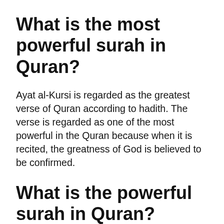What is the most powerful surah in Quran?
Ayat al-Kursi is regarded as the greatest verse of Quran according to hadith. The verse is regarded as one of the most powerful in the Quran because when it is recited, the greatness of God is believed to be confirmed.
What is the powerful surah in Quran?
According to our beloved Prophet, Surah Fatiha is the greatest Surah of the Holy Quran. Surah Fatiha is the opening surah, the gateway of the Quran. The…